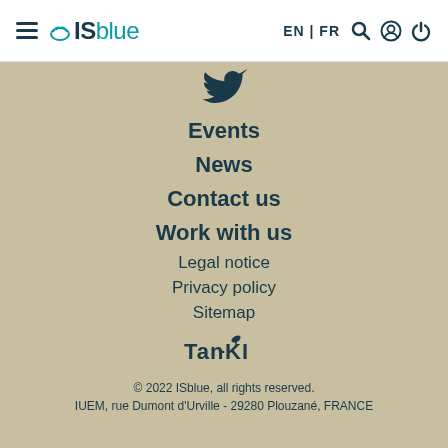ISblue — EN | FR navigation header with hamburger menu and icons
[Figure (logo): Twitter bird icon]
Events
News
Contact us
Work with us
Legal notice
Privacy policy
Sitemap
[Figure (logo): Tan-KI logo]
© 2022 ISblue, all rights reserved. IUEM, rue Dumont d'Urville - 29280 Plouzané, FRANCE